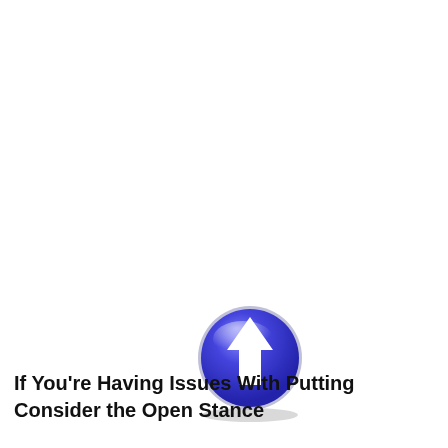[Figure (illustration): A blue glossy circular button/icon with a white upward-pointing arrow in the center, with a slight shadow beneath it.]
If You're Having Issues With Putting Consider the Open Stance